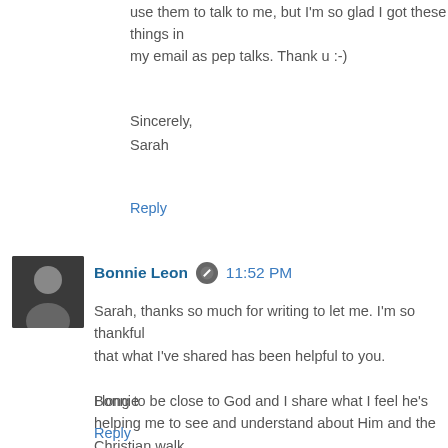use them to talk to me, but I'm so glad I got these things in my email as pep talks. Thank u :-)
Sincerely,
Sarah
Reply
Bonnie Leon  11:52 PM
Sarah, thanks so much for writing to let me. I'm so thankful that what I've shared has been helpful to you.

I long to be close to God and I share what I feel he's helping me to see and understand about Him and the Christian walk.

Praising Him for His goodness and grace.
Bonnie
Reply